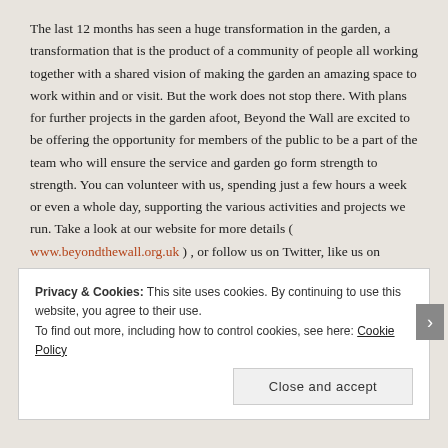The last 12 months has seen a huge transformation in the garden, a transformation that is the product of a community of people all working together with a shared vision of making the garden an amazing space to work within and or visit. But the work does not stop there. With plans for further projects in the garden afoot, Beyond the Wall are excited to be offering the opportunity for members of the public to be a part of the team who will ensure the service and garden go form strength to strength. You can volunteer with us, spending just a few hours a week or even a whole day, supporting the various activities and projects we run. Take a look at our website for more details ( www.beyondthewall.org.uk ) , or follow us on Twitter, like us on Facebook or follow us on Instagram, as we share what’s going on ‘Beyond the Wall’.
Privacy & Cookies: This site uses cookies. By continuing to use this website, you agree to their use.
To find out more, including how to control cookies, see here: Cookie Policy
Close and accept